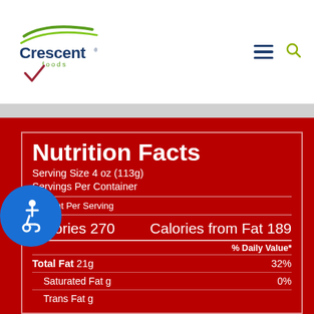Crescent Foods logo with navigation hamburger menu and search icon
Nutrition Facts
Serving Size 4 oz (113g)
Servings Per Container
Amount Per Serving
Calories 270    Calories from Fat 189
% Daily Value*
Total Fat 21g    32%
Saturated Fat g    0%
Trans Fat g